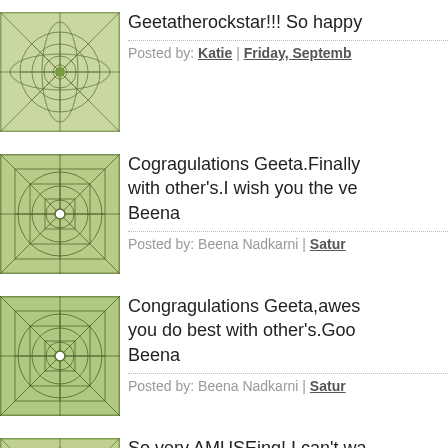[Figure (illustration): Green geometric/mandala square avatar image]
Geetatherockstar!!! So happy
Posted by: Katie | Friday, Septemb
[Figure (illustration): Green geometric/mandala square avatar image]
Cogragulations Geeta.Finally with other's.I wish you the ve Beena
Posted by: Beena Nadkarni | Satur
[Figure (illustration): Green geometric/mandala square avatar image]
Congragulations Geeta,awes you do best with other's.Goo Beena
Posted by: Beena Nadkarni | Satur
[Figure (illustration): Green geometric/mandala square avatar image]
So very AMUSEing! I can't wa fun.
Posted by: Evalyn | Saturday, Sept
[Figure (illustration): Blue/teal wave pattern avatar image (partially visible)]